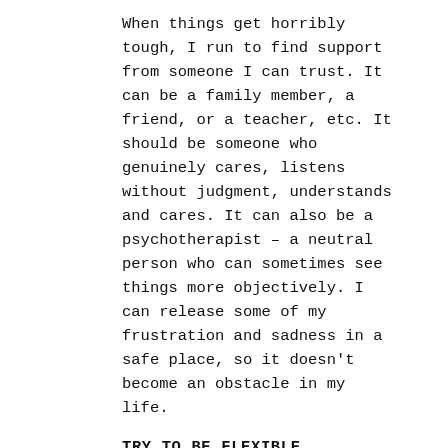When things get horribly tough, I run to find support from someone I can trust. It can be a family member, a friend, or a teacher, etc. It should be someone who genuinely cares, listens without judgment, understands and cares. It can also be a psychotherapist – a neutral person who can sometimes see things more objectively. I can release some of my frustration and sadness in a safe place, so it doesn't become an obstacle in my life.
TRY TO BE FLEXIBLE
There are many things in our daily life we cannot control and there are unexpected things that are thrown at us. Instead of being upset and angry, try to be flexible and adapt to the situation. Even if you can't change the external situation or a person, try to be flexible in how you look at it. Look for the good in the situation; the positive. It helps me to